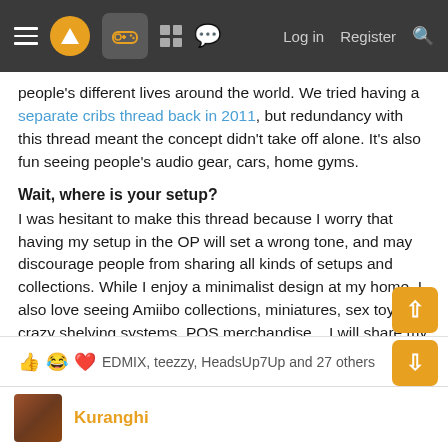Navigation bar with menu, logo, controller icon, grid, chat, Log in, Register, Search
people's different lives around the world. We tried having a separate cribs thread back in 2011, but redundancy with this thread meant the concept didn't take off alone. It's also fun seeing people's audio gear, cars, home gyms.
Wait, where is your setup?
I was hesitant to make this thread because I worry that having my setup in the OP will set a wrong tone, and may discourage people from sharing all kinds of setups and collections. While I enjoy a minimalist design at my home, I also love seeing Amiibo collections, miniatures, sex toys, crazy shelving systems, POS merchandise... I will share my London and all new Finland setups later. In the meanwhile, here is a throwback to my 2004 gaming setup.
👍 😂 ❤️ EDMIX, teezzy, HeadsUp7Up and 27 others
Kuranghi